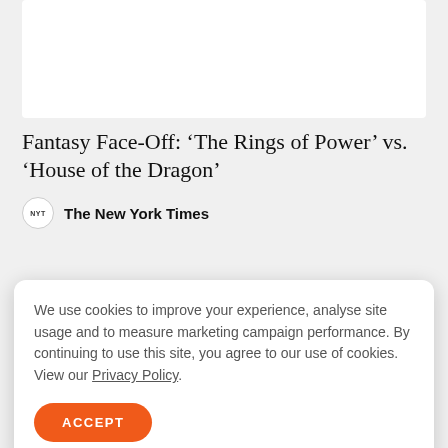Fantasy Face-Off: ‘The Rings of Power’ vs. ‘House of the Dragon’
The New York Times
[Figure (photo): Partial view of a circular image/thumbnail at the bottom of the article card]
We use cookies to improve your experience, analyse site usage and to measure marketing campaign performance. By continuing to use this site, you agree to our use of cookies. View our Privacy Policy.
ACCEPT